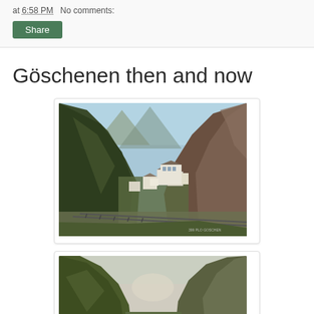at 6:58 PM   No comments:
Share
Göschenen then and now
[Figure (photo): Vintage colorized postcard aerial view of Göschenen village nestled in a steep Alpine valley, with mountains on both sides, buildings visible in the center, and railway tracks in the foreground.]
[Figure (photo): Modern photograph of the same Alpine valley at Göschenen showing steep green mountain slopes on both sides with a narrow valley opening in the distance.]